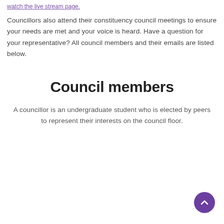watch the live stream page.
Councillors also attend their constituency council meetings to ensure your needs are met and your voice is heard. Have a question for your representative? All council members and their emails are listed below.
Council members
A councillor is an undergraduate student who is elected by peers to represent their interests on the council floor.